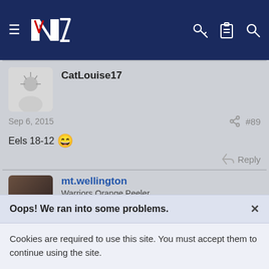Navigation bar with hamburger menu, NZ Warriors logo, key icon, clipboard icon, search icon
CatLouise17
Sep 6, 2015  #89
Eels 18-12 😄
Reply
mt.wellington
Warriors Orange Peeler
Oops! We ran into some problems.
Cookies are required to use this site. You must accept them to continue using the site.